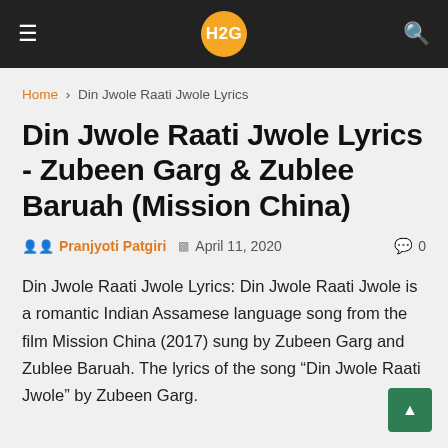H2G
Home › Din Jwole Raati Jwole Lyrics
Din Jwole Raati Jwole Lyrics - Zubeen Garg & Zublee Baruah (Mission China)
Pranjyoti Patgiri · April 11, 2020 · 0 comments
Din Jwole Raati Jwole Lyrics: Din Jwole Raati Jwole is a romantic Indian Assamese language song from the film Mission China (2017) sung by Zubeen Garg and Zublee Baruah. The lyrics of the song "Din Jwole Raati Jwole" by Zubeen Garg.